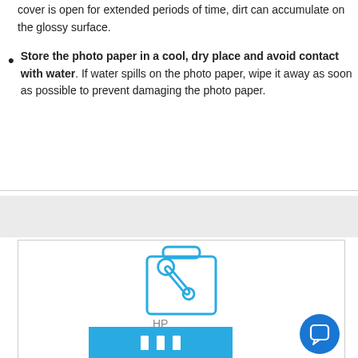cover is open for extended periods of time, dirt can accumulate on the glossy surface.
Store the photo paper in a cool, dry place and avoid contact with water. If water spills on the photo paper, wipe it away as soon as possible to prevent damaging the photo paper.
[Figure (illustration): HP toolbox/setup icon — a briefcase outline with a wrench inside, drawn in blue outline style. Below it text reads 'HP'. At the bottom a blue button bar with three white vertical bars (bar chart icon).]